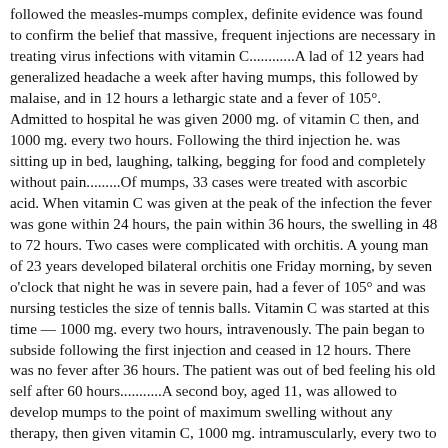followed the measles-mumps complex, definite evidence was found to confirm the belief that massive, frequent injections are necessary in treating virus infections with vitamin C............A lad of 12 years had generalized headache a week after having mumps, this followed by malaise, and in 12 hours a lethargic state and a fever of 105°. Admitted to hospital he was given 2000 mg. of vitamin C then, and 1000 mg. every two hours. Following the third injection he. was sitting up in bed, laughing, talking, begging for food and completely without pain.........Of mumps, 33 cases were treated with ascorbic acid. When vitamin C was given at the peak of the infection the fever was gone within 24 hours, the pain within 36 hours, the swelling in 48 to 72 hours. Two cases were complicated with orchitis. A young man of 23 years developed bilateral orchitis one Friday morning, by seven o'clock that night he was in severe pain, had a fever of 105° and was nursing testicles the size of tennis balls. Vitamin C was started at this time — 1000 mg. every two hours, intravenously. The pain began to subside following the first injection and ceased in 12 hours. There was no fever after 36 hours. The patient was out of bed feeling his old self after 60 hours...........A second boy, aged 11, was allowed to develop mumps to the point of maximum swelling without any therapy, then given vitamin C, 1000 mg. intramuscularly, every two to four hours. This lad was entirely well in 48 hours."--Dr Klenner The Treatment of Poliomyelitis and Other Virus Diseases with Vitamin C Fred R. Klenner, M.D. 1949